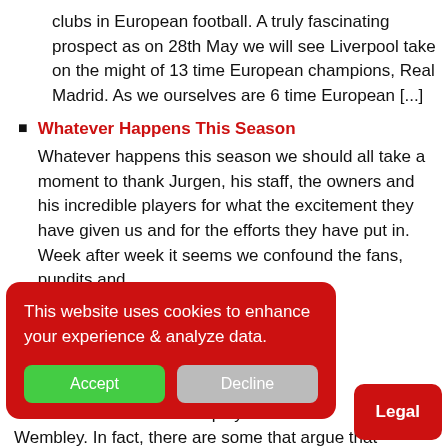clubs in European football. A truly fascinating prospect as on 28th May we will see Liverpool take on the might of 13 time European champions, Real Madrid. As we ourselves are 6 time European [...]
Whatever Happens This Season
Whatever happens this season we should all take a moment to thank Jurgen, his staff, the owners and his incredible players for what the excitement they have given us and for the efforts they have put in. Week after week it seems we confound the fans, pundits and [...]ngs to mind. [...]
...awn Manchester City in ...so far. A trip to ...ugh most, if not all, fans ...ould be played... Wembley. In fact, there are some that argue that
[Figure (screenshot): Cookie consent overlay with red background reading 'This website uses cookies to enhance your experience & analyze data.' with green Accept button and grey Decline button]
Legal